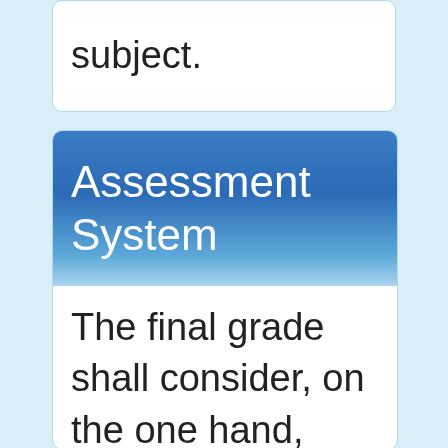subject.
Assessment System
The final grade shall consider, on the one hand, knowledge and, on